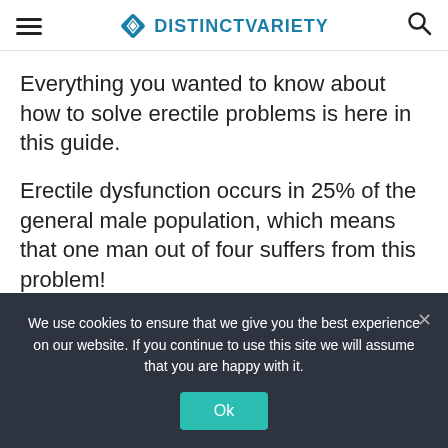DISTINCTVARIETY
Everything you wanted to know about how to solve erectile problems is here in this guide.
Erectile dysfunction occurs in 25% of the general male population, which means that one man out of four suffers from this problem!
The survey was performed for men between 18 and
We use cookies to ensure that we give you the best experience on our website. If you continue to use this site we will assume that you are happy with it.